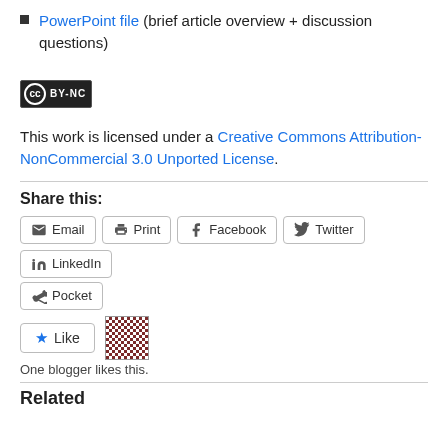PowerPoint file (brief article overview + discussion questions)
[Figure (logo): Creative Commons BY-NC badge/logo in black background]
This work is licensed under a Creative Commons Attribution-NonCommercial 3.0 Unported License.
Share this:
Email  Print  Facebook  Twitter  LinkedIn  Pocket
One blogger likes this.
Related